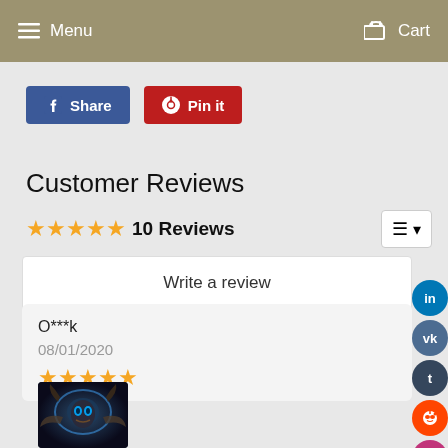Menu   Cart
[Figure (screenshot): Facebook Share button and Pinterest Pin it button]
Customer Reviews
★★★★★ 10 Reviews
Write a review
O***k
08/01/2020
★★★★★
[Figure (photo): Gaming/fantasy character thumbnail image in review]